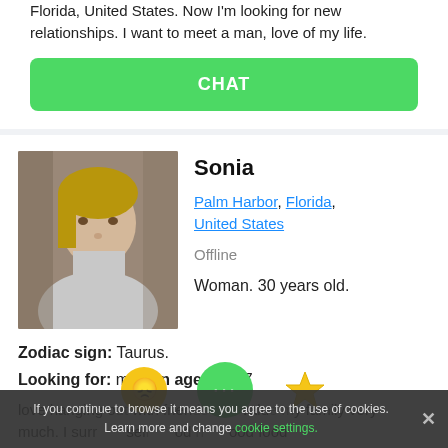Florida, United States. Now I'm looking for new relationships. I want to meet a man, love of my life.
CHAT
Sonia
Palm Harbor, Florida, United States
Offline
Woman. 30 years old.
Zodiac sign: Taurus.
Looking for: man. In age: 27-37
love hanging out with friends and value my family very much. I surr self od n ood food
If you continue to browse it means you agree to the use of cookies. Learn more and change cookie settings.